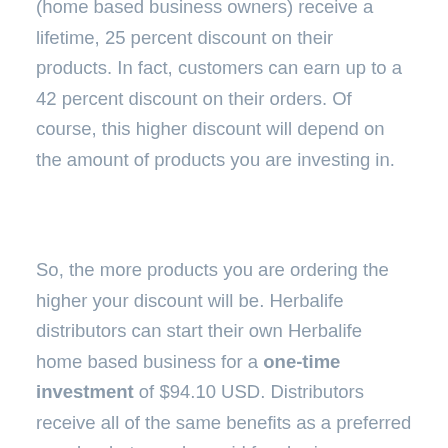(home based business owners) receive a lifetime, 25 percent discount on their products. In fact, customers can earn up to a 42 percent discount on their orders. Of course, this higher discount will depend on the amount of products you are investing in.
So, the more products you are ordering the higher your discount will be. Herbalife distributors can start their own Herbalife home based business for a one-time investment of $94.10 USD. Distributors receive all of the same benefits as a preferred member but are also paid for sharing